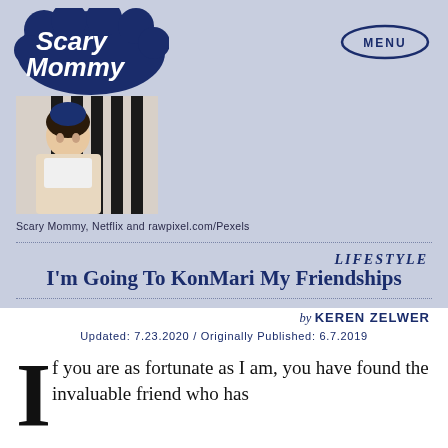[Figure (logo): Scary Mommy logo in cloud/bubble style lettering]
[Figure (screenshot): Menu button — oval border with MENU text]
[Figure (photo): Hero image showing a person in front of striped background]
Scary Mommy, Netflix and rawpixel.com/Pexels
LIFESTYLE
I'm Going To KonMari My Friendships
by KEREN ZELWER
Updated: 7.23.2020 / Originally Published: 6.7.2019
If you are as fortunate as I am, you have found the invaluable friend who has